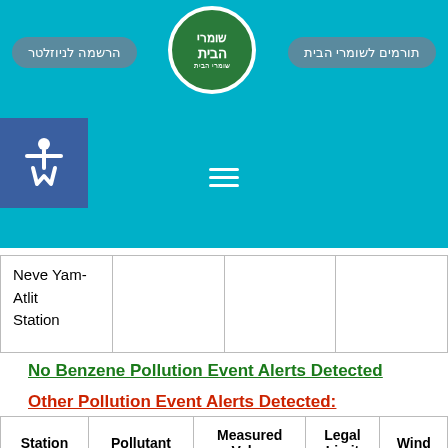[Figure (screenshot): Website header bar with teal/cyan background. Contains Hebrew navigation buttons (תורמים לשומרי הבית and הרשמה לניוזלטר), a circular green logo with Hebrew text שומרי הבית, a blue accessibility icon box, and a hamburger menu icon.]
| Station |  |  |  |
| --- | --- | --- | --- |
| Neve Yam-Atlit Station |  |  |  |
No Benzene Pollution Event Alerts Detected
Other Pollution Event Alerts Detected:
| Station | Pollutant | Measured Value | Legal Limit | Wind... |
| --- | --- | --- | --- | --- |